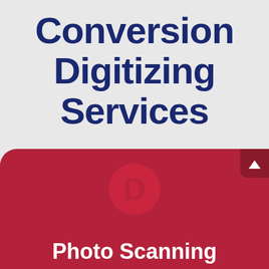Conversion Digitizing Services
[Figure (other): Decorative double horizontal orange/red divider line separator]
[Figure (other): Red rounded card panel with a circular logo placeholder and an arrow-up button in the top-right corner, with partial text 'Photo Scanning' visible at the bottom]